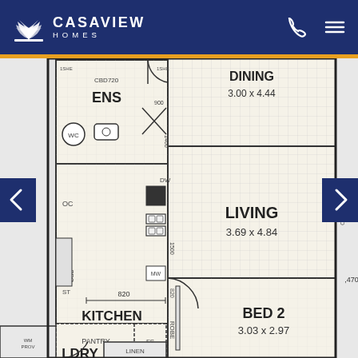CASAVIEW HOMES
[Figure (engineering-diagram): Floor plan showing ENS (ensuite), DINING 3.00 x 4.44, LIVING 3.69 x 4.84, KITCHEN 5.21 x 2.54, BED 2 3.03 x 2.97, PANTRY, LINEN, LDRY (laundry) rooms with dimensions and fixtures including dishwasher (DW), microwave (MW), sink (SINK), wardrobe (ROBE), WC, and various built-in features.]